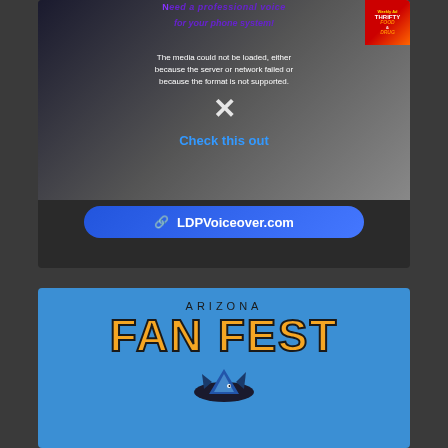[Figure (screenshot): Video player with media error overlay showing 'The media could not be loaded, either because the server or network failed or because the format is not supported.' with an X icon and 'Check this out' text. Purple text overlays for phone system ad. Thrifty Food & Drug corner badge. Blue CTA button with link icon and 'LDPVoiceover.com' text.]
[Figure (logo): Arizona Fan Fest logo on blue background with large orange/yellow stylized 'FAN FEST' text, 'ARIZONA' above in black, and a mascot/shark graphic below.]